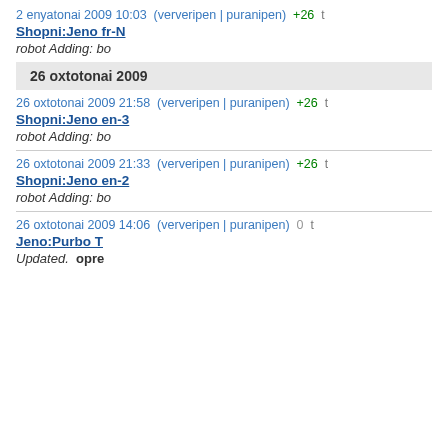2 enyatonai 2009 10:03  (ververipen | puranipen)  +26  t
Shopni:Jeno fr-N
robot Adding: bo
26 oxtotonai 2009
26 oxtotonai 2009 21:58  (ververipen | puranipen)  +26  t
Shopni:Jeno en-3
robot Adding: bo
26 oxtotonai 2009 21:33  (ververipen | puranipen)  +26  t
Shopni:Jeno en-2
robot Adding: bo
26 oxtotonai 2009 14:06  (ververipen | puranipen)  0  t
Jeno:Purbo T
Updated.  opre